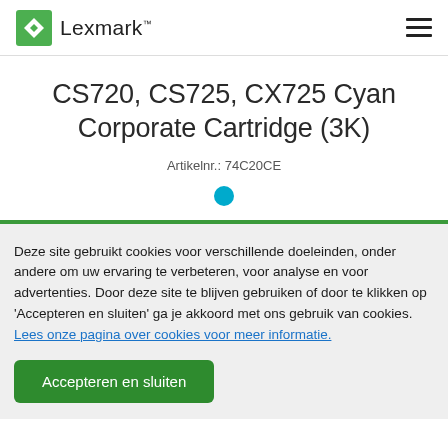Lexmark
CS720, CS725, CX725 Cyan Corporate Cartridge (3K)
Artikelnr.: 74C20CE
Deze site gebruikt cookies voor verschillende doeleinden, onder andere om uw ervaring te verbeteren, voor analyse en voor advertenties. Door deze site te blijven gebruiken of door te klikken op 'Accepteren en sluiten' ga je akkoord met ons gebruik van cookies. Lees onze pagina over cookies voor meer informatie.
Accepteren en sluiten